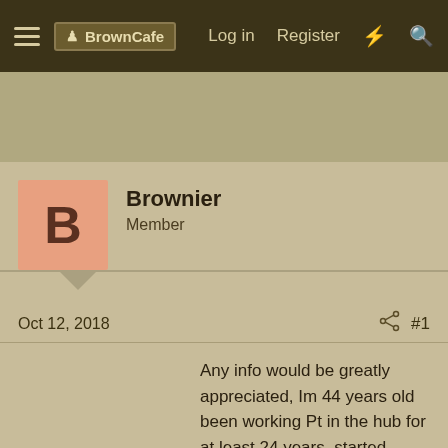BrownCafe  Log in  Register
Brownier
Member
Oct 12, 2018  #1
Any info would be greatly appreciated, Im 44 years old been working Pt in the hub for at least 24 years, started when i was 20 years old in the central states. confused about the definition of 25 and out at any age? need clarification, been told at least two different versions. 1.Retire after 25 years of service at